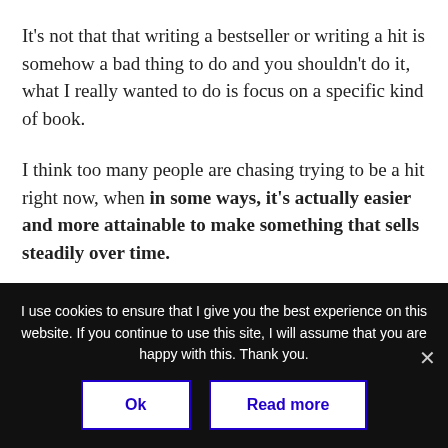It's not that that writing a bestseller or writing a hit is somehow a bad thing to do and you shouldn't do it, what I really wanted to do is focus on a specific kind of book.
I think too many people are chasing trying to be a hit right now, when in some ways, it's actually easier and more attainable to make something that sells steadily over time.
I use cookies to ensure that I give you the best experience on this website. If you continue to use this site, I will assume that you are happy with this. Thank you.